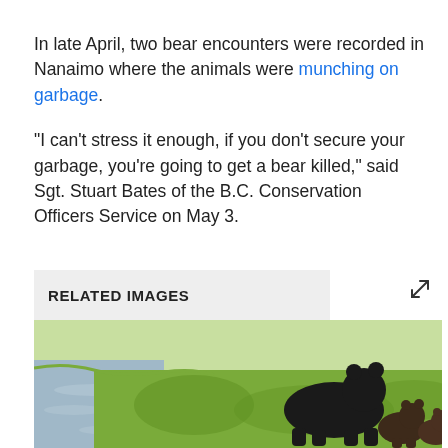In late April, two bear encounters were recorded in Nanaimo where the animals were munching on garbage.
"I can't stress it enough, if you don't secure your garbage, you're going to get a bear killed," said Sgt. Stuart Bates of the B.C. Conservation Officers Service on May 3.
RELATED IMAGES
[Figure (photo): A mother black bear walking along a grassy riverbank with two cubs following behind her.]